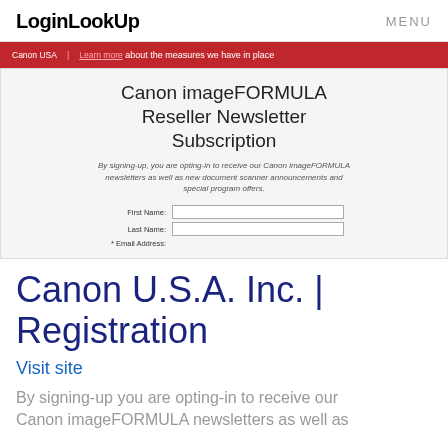LoginLookUp   MENU
[Figure (screenshot): Screenshot of Canon imageFORMULA Reseller Newsletter Subscription page with red banner, title, description, and form fields for First Name, Last Name, Email Address]
Canon U.S.A. Inc. | Registration
Visit site
By signing-up you are opting-in to receive our Canon imageFORMULA newsletters as well as